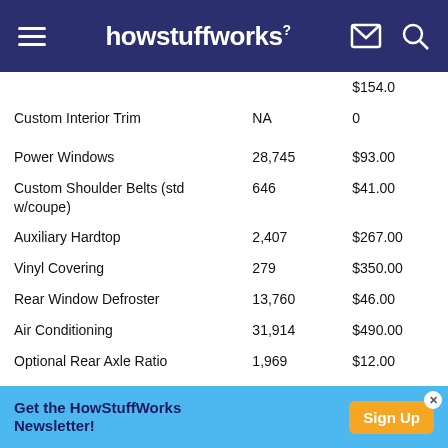howstuffworks
| Feature | Units | Price |
| --- | --- | --- |
|  |  | $154.0 |
| Custom Interior Trim | NA | 0 |
| Power Windows | 28,745 | $93.00 |
| Custom Shoulder Belts (std w/coupe) | 646 | $41.00 |
| Auxiliary Hardtop | 2,407 | $267.00 |
| Vinyl Covering | 279 | $350.00 |
| Rear Window Defroster | 13,760 | $46.00 |
| Air Conditioning | 31,914 | $490.00 |
| Optional Rear Axle Ratio | 1,969 | $12.00 |
| Gymkhana Suspension | 3,194 | $7.00 |
| Power Brakes | 35,842 | $50.00 |
| 205 hp Engine | 2,372 | $336.00 |
| 4-Speed Manual Transmission, close ratio | 1,057 | $0.00 |
Get the HowStuffWorks Newsletter! Sign Up